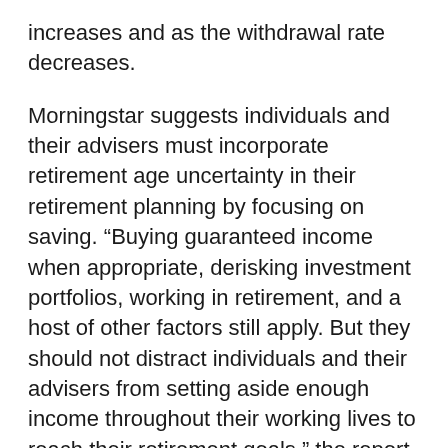increases and as the withdrawal rate decreases.
Morningstar suggests individuals and their advisers must incorporate retirement age uncertainty in their retirement planning by focusing on saving. “Buying guaranteed income when appropriate, derisking investment portfolios, working in retirement, and a host of other factors still apply. But they should not distract individuals and their advisers from setting aside enough income throughout their working lives to reach their retirement goals,” the report says.
Morningstar research finds that a combination of moderate interventions can significantly improve retirement outcomes.